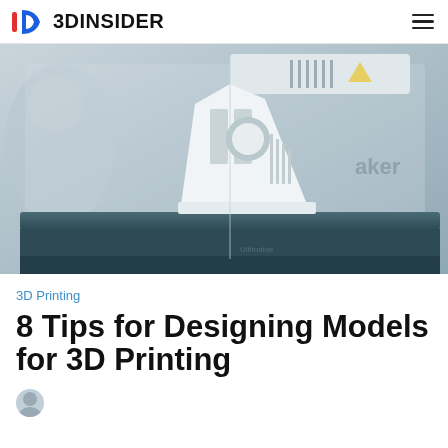3DINSIDER
[Figure (photo): Close-up photo of a 3D printer (Ultimaker or similar brand) with a white 3D-printed object on the build platform, partially visible 'aker' branding on the printer body.]
3D Printing
8 Tips for Designing Models for 3D Printing